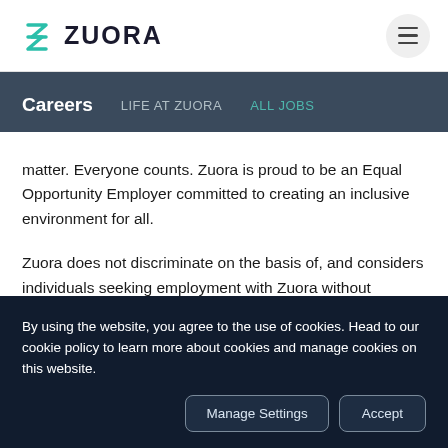ZUORA
Careers  LIFE AT ZUORA  ALL JOBS
matter. Everyone counts. Zuora is proud to be an Equal Opportunity Employer committed to creating an inclusive environment for all.
Zuora does not discriminate on the basis of, and considers individuals seeking employment with Zuora without regards to, race, religion,
By using the website, you agree to the use of cookies. Head to our cookie policy to learn more about cookies and manage cookies on this website.